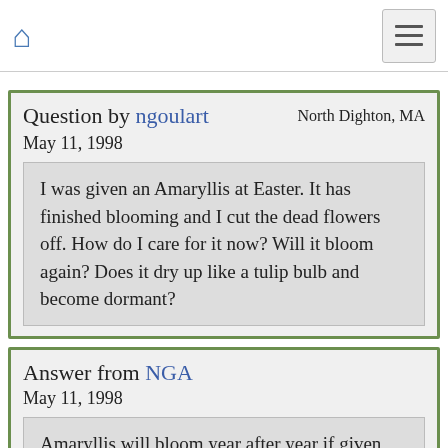Home | Menu
Question by ngoulart
North Dighton, MA
May 11, 1998
I was given an Amaryllis at Easter. It has finished blooming and I cut the dead flowers off. How do I care for it now? Will it bloom again? Does it dry up like a tulip bulb and become dormant?
Answer from NGA
May 11, 1998
Amaryllis will bloom year after year if given the proper care. Here's how to do it: Amaryllis grow best